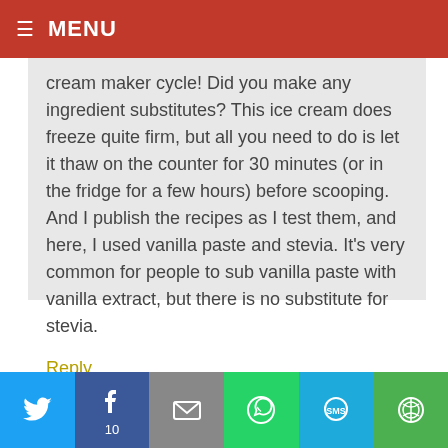☰ MENU
cream maker cycle! Did you make any ingredient substitutes? This ice cream does freeze quite firm, but all you need to do is let it thaw on the counter for 30 minutes (or in the fridge for a few hours) before scooping. And I publish the recipes as I test them, and here, I used vanilla paste and stevia. It's very common for people to sub vanilla paste with vanilla extract, but there is no substitute for stevia.
Reply
MAGGIE — JUNE 20, 2018 at 10:03 AM
[Figure (infographic): Social share bar with Twitter, Facebook (10 shares), Email, WhatsApp, SMS, and More buttons]